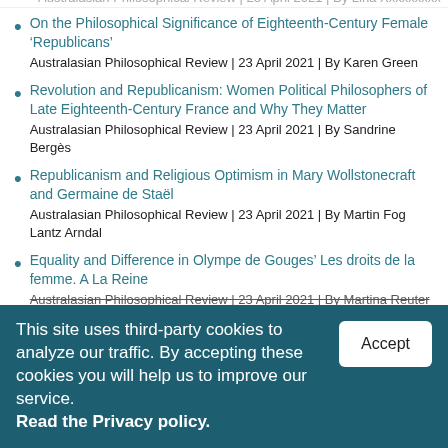On the Philosophical Significance of Eighteenth-Century Female ‘Republicans’
Australasian Philosophical Review | 23 April 2021 | By Karen Green
Revolution and Republicanism: Women Political Philosophers of Late Eighteenth-Century France and Why They Matter
Australasian Philosophical Review | 23 April 2021 | By Sandrine Bergès
Republicanism and Religious Optimism in Mary Wollstonecraft and Germaine de Staël
Australasian Philosophical Review | 23 April 2021 | By Martin Fog Lantz Arndal
Equality and Difference in Olympe de Gouges’ Les droits de la femme. A La Reine
Australasian Philosophical Review | 23 April 2021 | By Martina Reuter
This site uses third-party cookies to analyze our traffic. By accepting these cookies you will help us to improve our service. Read the Privacy policy.